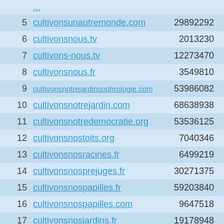| # | Domain | Col3 | Col4 |
| --- | --- | --- | --- |
| 5 | cultivonsunautremonde.com | 29892292 | 74204... |
| 6 | cultivonsnous.tv | 2013230 | 37346 |
| 7 | cultivons-nous.tv | 12273470 | 56318... |
| 8 | cultivonsnous.fr | 3549810 | 16788 |
| 9 | cultivonsnotrejardinsophrologie.com | 53986082 | 66616... |
| 10 | cultivonsnotrejardin.com | 68638938 | 51753... |
| 11 | cultivonsnotredemocratie.org | 53536125 | 89666 |
| 12 | cultivonsnostoits.org | 7040346 | 21536... |
| 13 | cultivonsnosracines.fr | 6499219 | 38702 |
| 14 | cultivonsnosprejuges.fr | 30271375 | 52816 |
| 15 | cultivonsnospapilles.fr | 59203840 | 67427... |
| 16 | cultivonsnospapilles.com | 9647518 | 28525... |
| 17 | cultivonsnosjardins.fr | 19178948 | 23199... |
| 18 | cultivonsmalin.fr | 56451381 | 46793... |